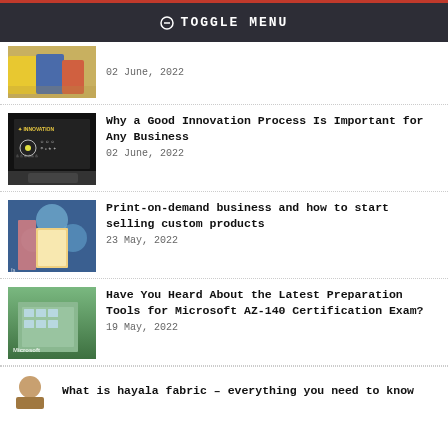TOGGLE MENU
02 June, 2022
Why a Good Innovation Process Is Important for Any Business
02 June, 2022
Print-on-demand business and how to start selling custom products
23 May, 2022
Have You Heard About the Latest Preparation Tools for Microsoft AZ-140 Certification Exam?
19 May, 2022
What is hayala fabric – everything you need to know